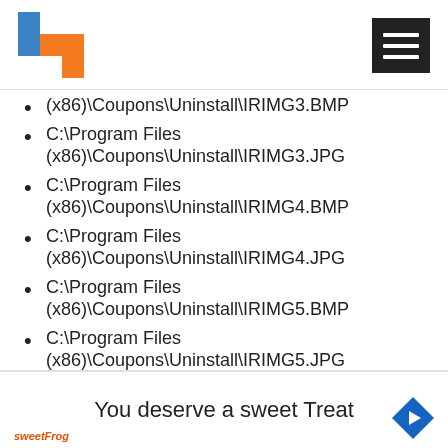[Figure (logo): Blue and orange Windows-style logo in top-left corner]
[Figure (other): Black hamburger menu icon in top-right corner]
(x86)\Coupons\Uninstall\IRIMG3.BMP
C:\Program Files (x86)\Coupons\Uninstall\IRIMG3.JPG
C:\Program Files (x86)\Coupons\Uninstall\IRIMG4.BMP
C:\Program Files (x86)\Coupons\Uninstall\IRIMG4.JPG
C:\Program Files (x86)\Coupons\Uninstall\IRIMG5.BMP
C:\Program Files (x86)\Coupons\Uninstall\IRIMG5.JPG
C:\Program Files (x86)\Coupons\Uninstall\IRIMG6.BMP
You deserve a sweet Treat